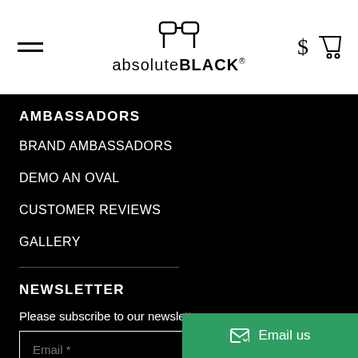[Figure (logo): absoluteBLACK logo with AB monogram icon and wordmark, plus hamburger menu, dollar sign, and cart icons in white header]
AMBASSADORS
BRAND AMBASSADORS
DEMO AN OVAL
CUSTOMER REVIEWS
GALLERY
NEWSLETTER
Please subscribe to our newsletter